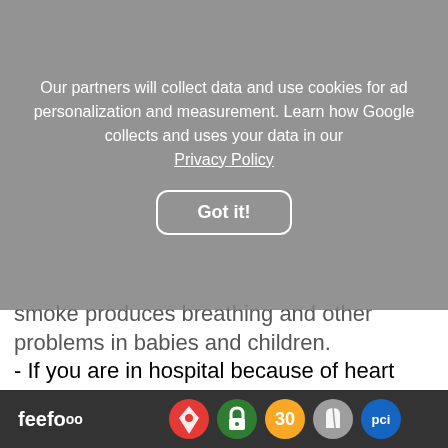[Figure (screenshot): Cookie consent overlay with text about data collection and a 'Got it!' button]
smoke produces breathing and other problems in babies and children.
- If you are in hospital because of heart disease (including heart attack, chest pain, disorders of heart rate or rhythm, or stroke). In other heart conditions not requiring you to be in hospital, using NRT is better than continuing to smoke.
- If you have a stomach ulcer, duodenal ulcer, inflammation of the stomach or inflammation of the oesophagus (passage between the mouth and stomach).
- If you have live
[Figure (screenshot): Browser taskbar with Feefo logo, Google Maps icon, lock icon, 30 badge, Shopify icon, and PCI icon]